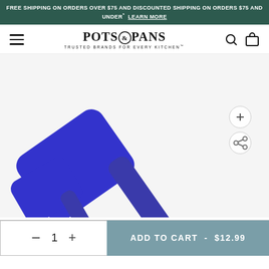FREE SHIPPING ON ORDERS OVER $75 AND DISCOUNTED SHIPPING ON ORDERS $75 AND UNDER* LEARN MORE
[Figure (logo): Pots & Pans logo with hamburger menu, search icon, and cart icon in navigation bar]
[Figure (photo): Two blue silicone spatulas on white background - one large and one small, with zoom and share buttons on the right side]
ADD TO CART - $12.99